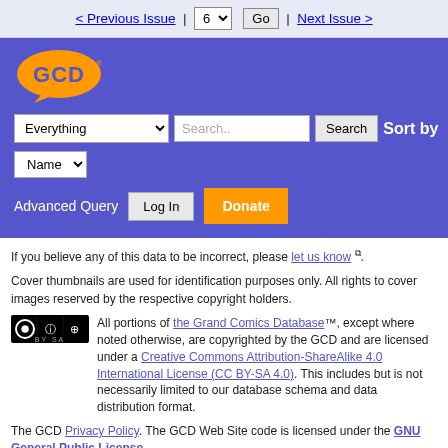< Previous Issue | 6 [dropdown] Go | Next Issue >
[Figure (logo): GCD logo - orange speech bubble with GCD text on blue background]
Everything [dropdown] Search.. [input] Search  Sort by  Name [dropdown]  Advanced Query  Log In  Donate
If you believe any of this data to be incorrect, please let us know.
Cover thumbnails are used for identification purposes only. All rights to cover images reserved by the respective copyright holders.
All portions of the Grand Comics Database™, except where noted otherwise, are copyrighted by the GCD and are licensed under a Creative Commons Attribution-ShareAlike 4.0 International License (CC BY-SA 4.0). This includes but is not necessarily limited to our database schema and data distribution format.
The GCD Privacy Policy. The GCD Web Site code is licensed under the GNU General Public License.